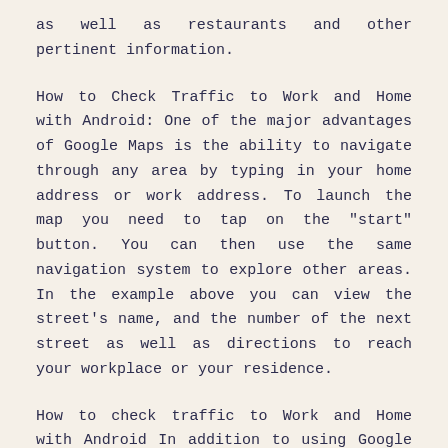as well as restaurants and other pertinent information.
How to Check Traffic to Work and Home with Android: One of the major advantages of Google Maps is the ability to navigate through any area by typing in your home address or work address. To launch the map you need to tap on the "start" button. You can then use the same navigation system to explore other areas. In the example above you can view the street’s name, and the number of the next street as well as directions to reach your workplace or your residence.
How to check traffic to Work and Home with Android In addition to using Google Maps to begin navigation, you can use Google’s other Android tools to measure the flow of traffic that is heading to your workplace.